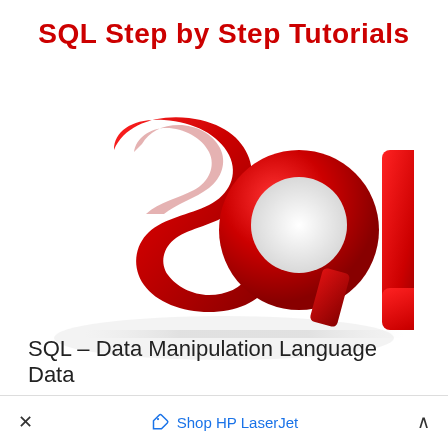SQL Step by Step Tutorials
[Figure (illustration): 3D red glossy letters spelling SQL on a white reflective surface]
SQL – Data Manipulation Language Data
× Shop HP LaserJet ^